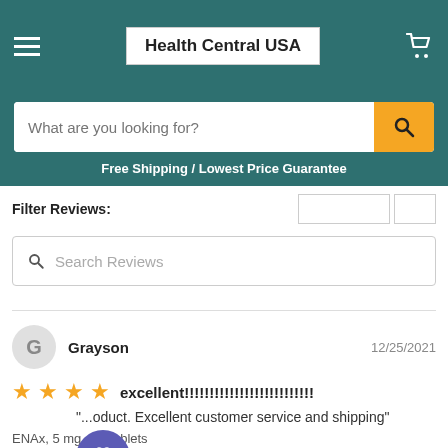Health Central USA
What are you looking for?
Free Shipping / Lowest Price Guarantee
Filter Reviews:
Search Reviews
Grayson  12/25/2021
★★★★ excellentIIIIIIIIIIIIIIIIIIIIIIIIIIIIII
"...oduct. Excellent customer service and shipping"
ENAx, 5 mg, 30 Tablets